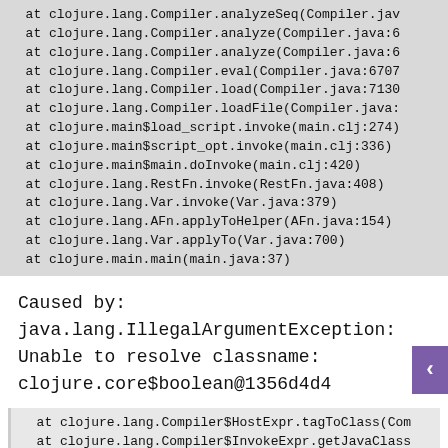at clojure.lang.Compiler.analyzeSeq(Compiler.jav
  at clojure.lang.Compiler.analyze(Compiler.java:6
  at clojure.lang.Compiler.analyze(Compiler.java:6
  at clojure.lang.Compiler.eval(Compiler.java:6707
  at clojure.lang.Compiler.load(Compiler.java:7130
  at clojure.lang.Compiler.loadFile(Compiler.java:
  at clojure.main$load_script.invoke(main.clj:274)
  at clojure.main$script_opt.invoke(main.clj:336)
  at clojure.main$main.doInvoke(main.clj:420)
  at clojure.lang.RestFn.invoke(RestFn.java:408)
  at clojure.lang.Var.invoke(Var.java:379)
  at clojure.lang.AFn.applyToHelper(AFn.java:154)
  at clojure.lang.Var.applyTo(Var.java:700)
  at clojure.main.main(main.java:37)
Caused by: java.lang.IllegalArgumentException:
Unable to resolve classname:
clojure.core$boolean@1356d4d4
at clojure.lang.Compiler$HostExpr.tagToClass(Com
  at clojure.lang.Compiler$InvokeExpr.getJavaClass
  at clojure.lang.Compiler$LocalBinding.hasJavaCla